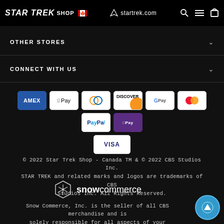STAR TREK SHOP | startrek.com
OTHER STORES
CONNECT WITH US
[Figure (other): Payment method icons: American Express, Apple Pay, Diners Club, Discover, Google Pay, Mastercard, PayPal, ShopPay, Visa]
© 2022 Star Trek Shop - Canada TM & © 2022 CBS Studios Inc. STAR TREK and related marks and logos are trademarks of CBS Studios Inc. All Rights Reserved.
[Figure (logo): Snow Commerce hexagon logo with snowflake and 'snowcommerce' text]
Snow Commerce, Inc. is the seller of all CBS merchandise and is solely responsible for all aspects of your purchase.